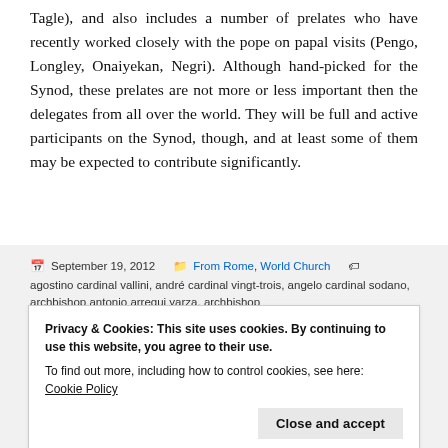Tagle), and also includes a number of prelates who have recently worked closely with the pope on papal visits (Pengo, Longley, Onaiyekan, Negri). Although hand-picked for the Synod, these prelates are not more or less important then the delegates from all over the world. They will be full and active participants on the Synod, though, and at least some of them may be expected to contribute significantly.
September 19, 2012  From Rome, World Church  agostino cardinal vallini, andré cardinal vingt-trois, angelo cardinal sodano, archbishop antonio arrequi yarza, archbishop
Privacy & Cookies: This site uses cookies. By continuing to use this website, you agree to their use.
To find out more, including how to control cookies, see here: Cookie Policy
Close and accept
enrico dal covolo, bishop javier echevarria rodriguez, bishop luigi